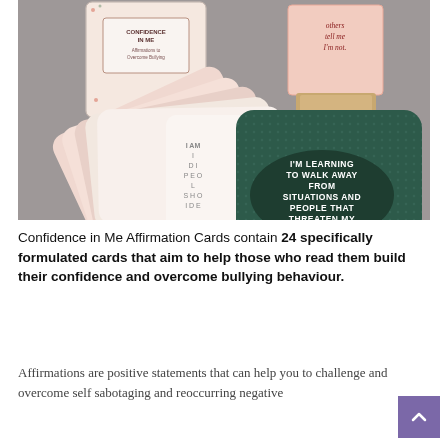[Figure (photo): Photo of affirmation card deck fanned out on a gray surface. Visible cards include one dark green card reading 'I'M LEARNING TO WALK AWAY FROM SITUATIONS AND PEOPLE THAT THREATEN MY VALUES!' and another partially visible card. Two boxed card sets are visible in the background.]
Confidence in Me Affirmation Cards contain 24 specifically formulated cards that aim to help those who read them build their confidence and overcome bullying behaviour.
Affirmations are positive statements that can help you to challenge and overcome self sabotaging and reoccurring negative